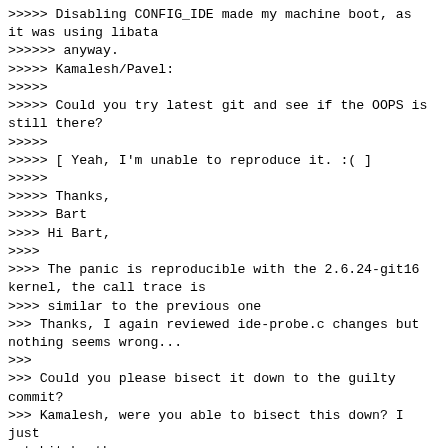>>>>>> Disabling CONFIG_IDE made my machine boot, as it was using libata
>>>>>> anyway.
>>>>> Kamalesh/Pavel:
>>>>>
>>>>> Could you try latest git and see if the OOPS is still there?
>>>>>
>>>>> [ Yeah, I'm unable to reproduce it. :( ]
>>>>>
>>>>> Thanks,
>>>>> Bart
>>>> Hi Bart,
>>>>
>>>> The panic is reproducible with the 2.6.24-git16 kernel, the call trace is
>>>> similar to the previous one
>>> Thanks, I again reviewed ide-probe.c changes but nothing seems wrong...
>>>
>>> Could you please bisect it down to the guilty commit?
>>> Kamalesh, were you able to bisect this down? I just got hit by the
>>> same panic on a 4-way x86_64, with 2.6.24-git22.
>>>
>>> Thanks,
>>> Nish
>> Hi Nish,
>>